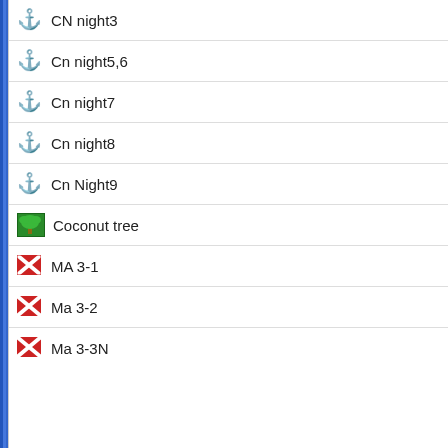[Figure (screenshot): Google Maps interface showing dive site markers. Left panel lists dive sites with anchor icons and dive flag icons: CN night3, Cn night5,6, Cn night7, Cn night8, Cn Night9, Coconut tree, MA 3-1, Ma 3-2, Ma 3-3N. Map shows light blue ocean area with labels including Ku and M. Bottom shows center coordinates 4.82332,73.19092, ruler icon, Google logo, and terrain icon.]
Picture Gallery of better pictures and videos (371 from 25 dives
Picture Gallery of best pictures and videos (123 from 25 dives c
I first did some land based diving with Ocean Junkies as soon as I a going on the liveaboard). Those dives were actually surprisingly go
[Figure (photo): Underwater photo showing turquoise/teal colored coral reef or ocean floor, partially visible at bottom of page.]